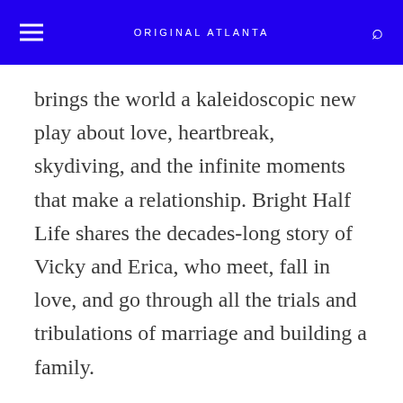ORIGINAL ATLANTA
brings the world a kaleidoscopic new play about love, heartbreak, skydiving, and the infinite moments that make a relationship. Bright Half Life shares the decades-long story of Vicky and Erica, who meet, fall in love, and go through all the trials and tribulations of marriage and building a family.
The Wolf at the End of the Block (Mar.